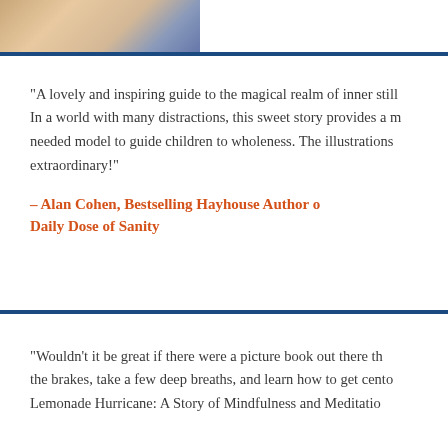[Figure (photo): Partial photo of a person with blonde hair and American flag, cropped at top of page]
“A lovely and inspiring guide to the magical realm of inner still… In a world with many distractions, this sweet story provides a m… needed model to guide children to wholeness. The illustrations… extraordinary!”
– Alan Cohen, Bestselling Hayhouse Author o… Daily Dose of Sanity
“Wouldn’t it be great if there were a picture book out there th… the brakes, take a few deep breaths, and learn how to get cento… Lemonade Hurricane: A Story of Mindfulness and Meditatio…